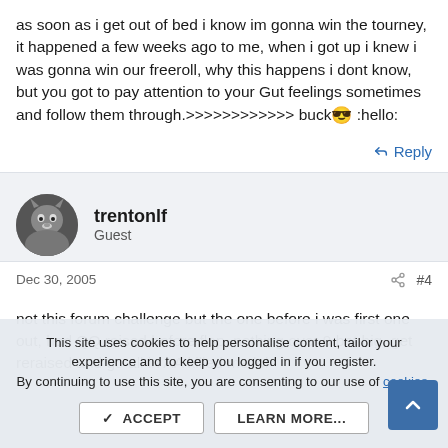as soon as i get out of bed i know im gonna win the tourney, it happened a few weeks ago to me, when i got up i knew i was gonna win our freeroll, why this happens i dont know, but you got to pay attention to your Gut feelings sometimes and follow them through.>>>>>>>>>>>> buck 😎 :hello:
↩ Reply
[Figure (photo): Wolf avatar photo for user trentonlf]
trentonlf
Guest
Dec 30, 2005   🔗  #4
not this forum challenge but the one before i was first one out, had QQ raised before flop, nothing over 9 bet big, get reraised and go all in AA killed me lol
This site uses cookies to help personalise content, tailor your experience and to keep you logged in if you register.
By continuing to use this site, you are consenting to our use of cookies.
✓  ACCEPT    LEARN MORE...